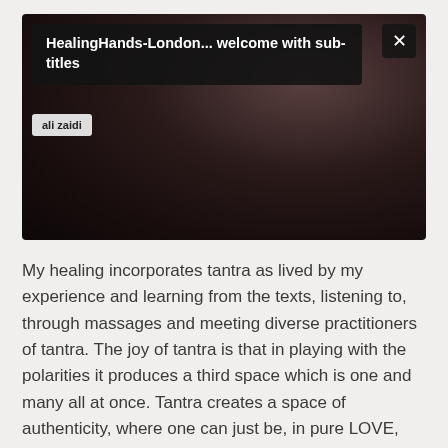[Figure (screenshot): A video player screenshot showing a dark, dimly lit video thumbnail with a title overlay bar reading 'HealingHands-London... welcome with sub-titles', a close (X) button in the top right, and an author tag 'ali zaidi' below the title bar.]
My healing incorporates tantra as lived by my experience and learning from the texts, listening to, through massages and meeting diverse practitioners of tantra. The joy of tantra is that in playing with the polarities it produces a third space which is one and many all at once. Tantra creates a space of authenticity, where one can just be, in pure LOVE,